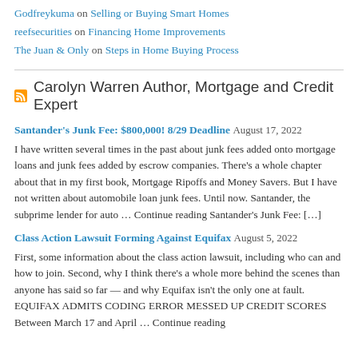Godfreykuma on Selling or Buying Smart Homes
reefsecurities on Financing Home Improvements
The Juan & Only on Steps in Home Buying Process
Carolyn Warren Author, Mortgage and Credit Expert
Santander's Junk Fee: $800,000! 8/29 Deadline August 17, 2022
I have written several times in the past about junk fees added onto mortgage loans and junk fees added by escrow companies. There's a whole chapter about that in my first book, Mortgage Ripoffs and Money Savers. But I have not written about automobile loan junk fees. Until now. Santander, the subprime lender for auto … Continue reading Santander's Junk Fee: […]
Class Action Lawsuit Forming Against Equifax August 5, 2022
First, some information about the class action lawsuit, including who can and how to join. Second, why I think there's a whole more behind the scenes than anyone has said so far — and why Equifax isn't the only one at fault. EQUIFAX ADMITS CODING ERROR MESSED UP CREDIT SCORES Between March 17 and April … Continue reading